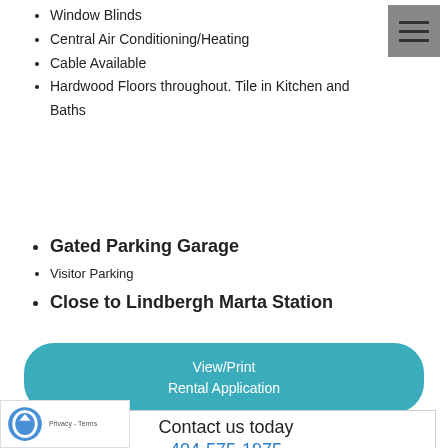Window Blinds
Central Air Conditioning/Heating
Cable Available
Hardwood Floors throughout. Tile in Kitchen and Baths
[Figure (other): Hamburger menu icon — three horizontal lines on a grey square background]
Gated Parking Garage
Visitor Parking
Close to Lindbergh Marta Station
View/Print
Rental Application
Contact us today
404-575-1975